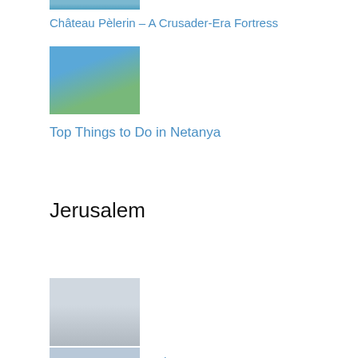[Figure (photo): Partial thumbnail image at top of page (cropped, showing blue/teal scene)]
Château Pèlerin – A Crusader-Era Fortress
[Figure (photo): Aerial photo of Netanya coastline with green median and ocean]
Top Things to Do in Netanya
Jerusalem
[Figure (photo): Photo of the Knesset building exterior in winter/overcast]
Is It Possible to Tour the Knesset?
[Figure (photo): Partial thumbnail at bottom of page showing a Jerusalem cityscape]